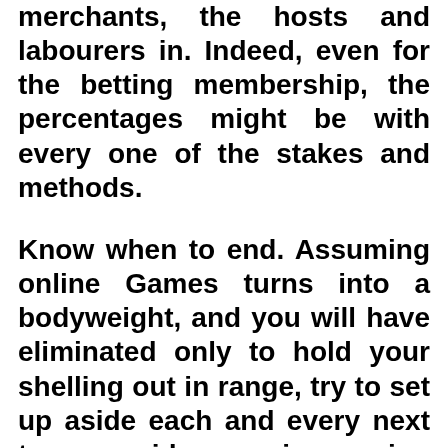merchants, the hosts and labourers in. Indeed, even for the betting membership, the percentages might be with every one of the stakes and methods.
Know when to end. Assuming online Games turns into a bodyweight, and you will have eliminated only to hold your shelling out in range, try to set up aside each and every next to your video gaming paying you stick to that constraint and have around the judi dragon tiger indonesia gambling establishment. Points in which you